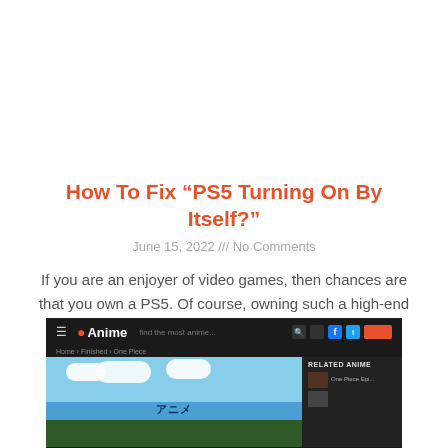How To Fix “PS5 Turning On By Itself?”
June 15, 2022 /// No Comments
If you are an enjoyer of video games, then chances are that you own a PS5. Of course, owning such a high-end gaming console is
Read More »
[Figure (screenshot): Screenshot of 9Anime website showing a video player with an anime episode (One Piece) playing, with a blue sky and clouds scene, and a sidebar showing related content]